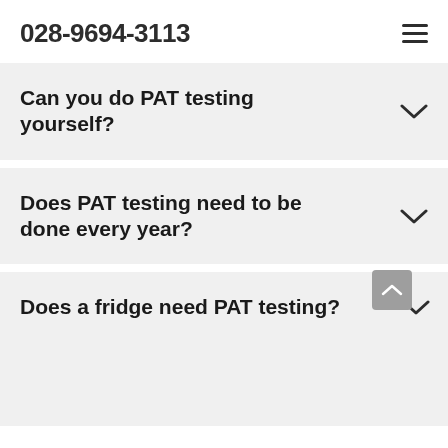028-9694-3113
Can you do PAT testing yourself?
Does PAT testing need to be done every year?
Does a fridge need PAT testing?